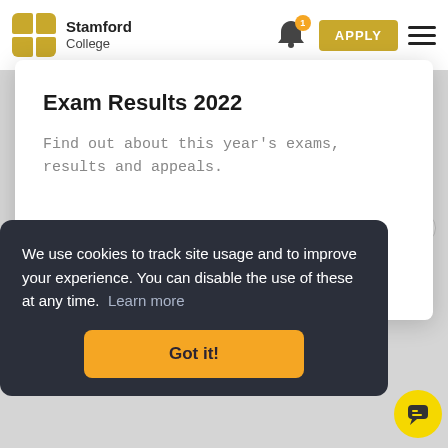[Figure (screenshot): Stamford College website header with logo (four colored squares), college name, bell notification icon with badge '1', golden Apply button, and hamburger menu icon]
financial support
transport
fees
Exam Results 2022
Find out about this year's exams, results and appeals.
We use cookies to track site usage and to improve your experience. You can disable the use of these at any time.  Learn more
Got it!